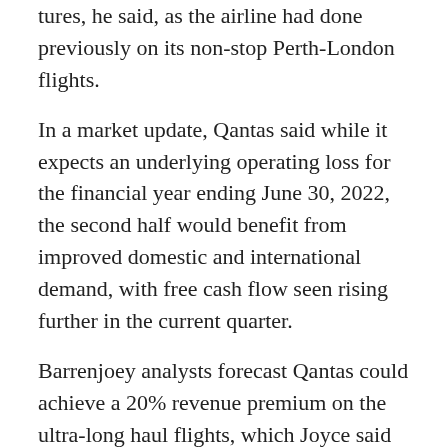tures, he said, as the airline had done previously on its non-stop Perth-London flights.
In a market update, Qantas said while it expects an underlying operating loss for the financial year ending June 30, 2022, the second half would benefit from improved domestic and international demand, with free cash flow seen rising further in the current quarter.
Barrenjoey analysts forecast Qantas could achieve a 20% revenue premium on the ultra-long haul flights, which Joyce said will also go to New York from late 2025 and possible future destinations like Paris, Chicago and Rio de Janeiro.
Qantas estimated Project Sunrise would have an internal rate of return of around 15%.
($1 = 1.4188 Australian dollars)